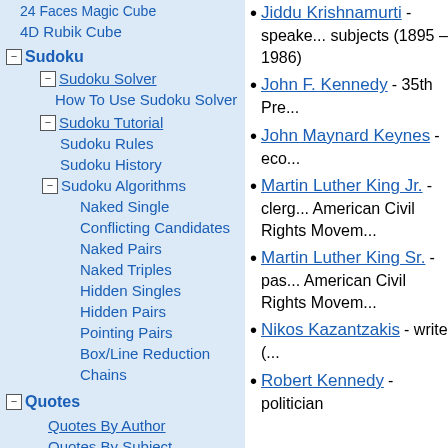24 Faces Magic Cube
4D Rubik Cube
Sudoku
Sudoku Solver
How To Use Sudoku Solver
Sudoku Tutorial
Sudoku Rules
Sudoku History
Sudoku Algorithms
Naked Single
Conflicting Candidates
Naked Pairs
Naked Triples
Hidden Singles
Hidden Pairs
Pointing Pairs
Box/Line Reduction
Chains
Quotes
Quotes By Author
Quotes By Subject
Jiddu Krishnamurti - speaker on philosophical and spiritual subjects (1895 – 1986)
John F. Kennedy - 35th Pre...
John Maynard Keynes - eco...
Martin Luther King Jr. - clergyman, American Civil Rights Movement
Martin Luther King Sr. - pastor, American Civil Rights Movement
Nikos Kazantzakis - writer (...)
Robert Kennedy - politician